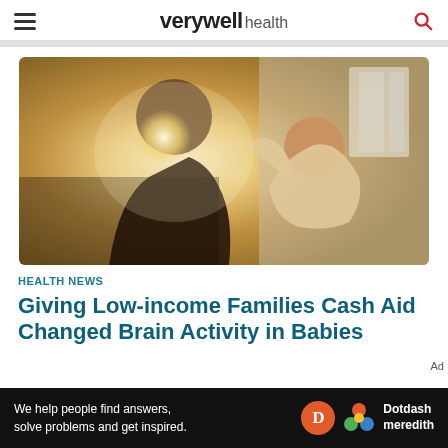verywell health
[Figure (photo): A mother holding up and looking at her baby in warm backlit indoor light]
HEALTH NEWS
Giving Low-income Families Cash Aid Changed Brain Activity in Babies
[Figure (logo): Dotdash Meredith advertisement banner with text: We help people find answers, solve problems and get inspired.]